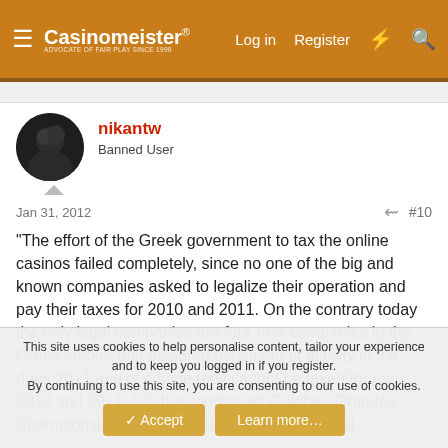Casinomeister® | Log in | Register
nikantw
Banned User
Jan 31, 2012   #10
"The effort of the Greek government to tax the online casinos failed completely, since no one of the big and known companies asked to legalize their operation and pay their taxes for 2010 and 2011. On the contrary today the only legal companies are four new companies in the Greek market that declared beginning of activity in the dues 2011 and of course they cannot be taxed for uses 2010 and 2011. It is the companies Goldbet, Grandex, Championsbet.net and Casinostar777.com, that
This site uses cookies to help personalise content, tailor your experience and to keep you logged in if you register.
By continuing to use this site, you are consenting to our use of cookies.
Accept | Learn more...